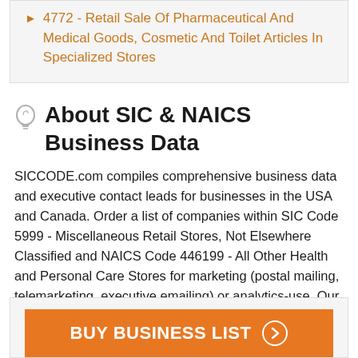4772 - Retail Sale Of Pharmaceutical And Medical Goods, Cosmetic And Toilet Articles In Specialized Stores
About SIC & NAICS Business Data
SICCODE.com compiles comprehensive business data and executive contact leads for businesses in the USA and Canada. Order a list of companies within SIC Code 5999 - Miscellaneous Retail Stores, Not Elsewhere Classified and NAICS Code 446199 - All Other Health and Personal Care Stores for marketing (postal mailing, telemarketing, executive emailing) or analytics-use. Our data analysts are standing by to assist in your list setup and target marketing.
BUY BUSINESS LIST